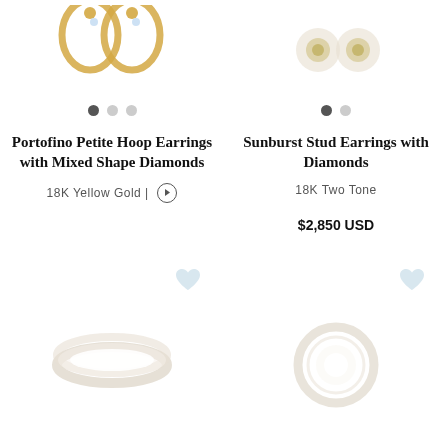[Figure (photo): Gold hoop earrings with mixed shape diamonds, partially visible at top]
[Figure (photo): Diamond stud earrings, partially visible at top right]
[Figure (other): Carousel navigation dots: 3 dots, first filled]
[Figure (other): Carousel navigation dots: 2 dots, first filled]
Portofino Petite Hoop Earrings with Mixed Shape Diamonds
Sunburst Stud Earrings with Diamonds
18K Yellow Gold |
18K Two Tone
$2,850 USD
[Figure (other): Light blue heart wishlist icon, left column]
[Figure (other): Light blue heart wishlist icon, right column]
[Figure (photo): Ring product image, bottom left, light gold band]
[Figure (photo): Ring product image, bottom right, circular design]